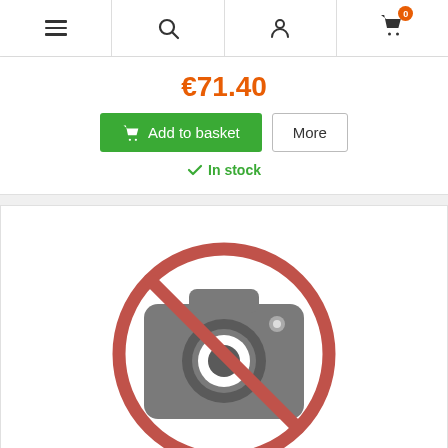Navigation bar with menu, search, user, and cart icons
€71.40
Add to basket  More
In stock
[Figure (illustration): No image available placeholder — camera icon with a prohibition circle (red circle with diagonal line) over it]
REFERENCE: 0000 400 1306